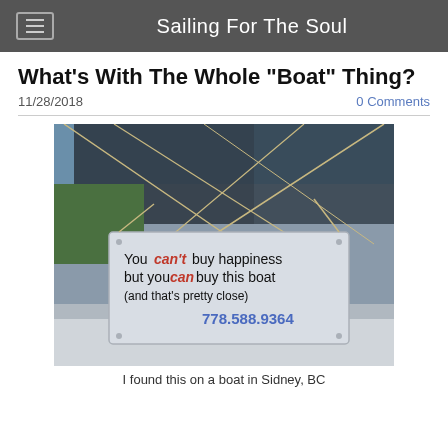Sailing For The Soul
What's With The Whole "Boat" Thing?
11/28/2018
0 Comments
[Figure (photo): A sign hanging on a boat reading: You can't buy happiness but you can buy this boat (and that's pretty close) 778.588.9364]
I found this on a boat in Sidney, BC